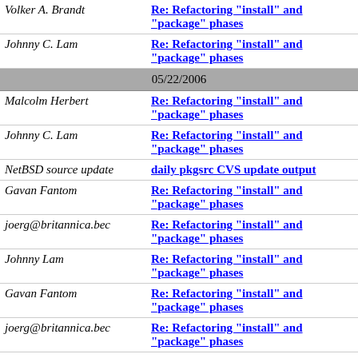| Sender | Subject |
| --- | --- |
| Volker A. Brandt | Re: Refactoring "install" and "package" phases |
| Johnny C. Lam | Re: Refactoring "install" and "package" phases |
| 05/22/2006 |  |
| Malcolm Herbert | Re: Refactoring "install" and "package" phases |
| Johnny C. Lam | Re: Refactoring "install" and "package" phases |
| NetBSD source update | daily pkgsrc CVS update output |
| Gavan Fantom | Re: Refactoring "install" and "package" phases |
| joerg@britannica.bec | Re: Refactoring "install" and "package" phases |
| Johnny Lam | Re: Refactoring "install" and "package" phases |
| Gavan Fantom | Re: Refactoring "install" and "package" phases |
| joerg@britannica.bec | Re: Refactoring "install" and "package" phases |
| Gavan Fantom | Re: Refactoring "install" and "package" phases |